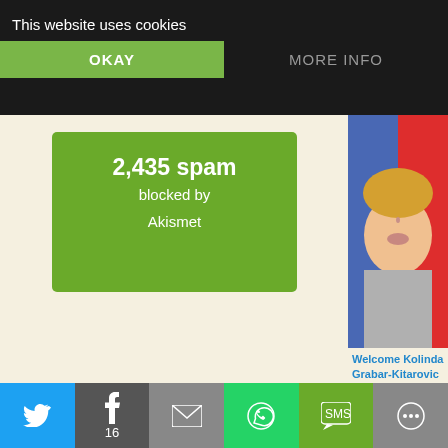This website uses cookies
OKAY
MORE INFO
[Figure (infographic): Green Akismet spam counter badge showing '2,435 spam blocked by Akismet']
[Figure (photo): Portrait photo of Kolinda Grabar-Kitarovic in front of Croatian flag]
Welcome Kolinda Grabar-Kitarovic – The New President Of Croatia
January 11, 2015
In "Croatia"
[Figure (photo): Book cover image with European/Croatian flags and text TREATY]
pdf Public document
Sharing is caring!
12 Shares
[Figure (infographic): Social share bar with Facebook (16), Twitter, Telegram, Pinterest buttons]
[Figure (infographic): Bottom mobile share bar with Twitter, Facebook (16), Email, WhatsApp, SMS, More options]